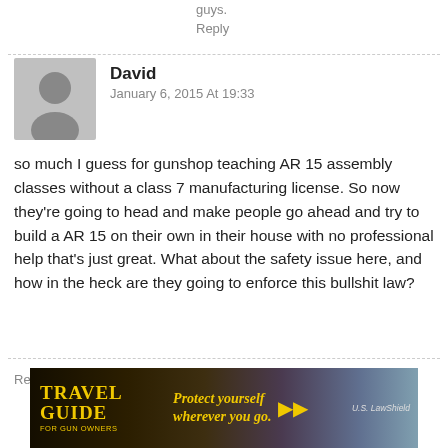guys.
Reply
David
January 6, 2015 At 19:33
so much I guess for gunshop teaching AR 15 assembly classes without a class 7 manufacturing license. So now they're going to head and make people go ahead and try to build a AR 15 on their own in their house with no professional help that's just great. What about the safety issue here, and how in the heck are they going to enforce this bullshit law?
Reply
[Figure (infographic): Travel Guide For Gun Owners advertisement banner with text 'Protect yourself wherever you go.' and U.S. LawShield branding, yellow/gold text on dark background with arrows]